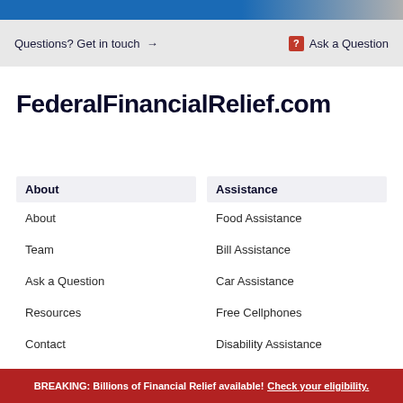[Figure (photo): Top banner image with blue gradient and partial photo on right side]
Questions? Get in touch → Ask a Question
FederalFinancialRelief.com
About
About
Team
Ask a Question
Resources
Contact
Assistance
Food Assistance
Bill Assistance
Car Assistance
Free Cellphones
Disability Assistance
BREAKING: Billions of Financial Relief available! Check your eligibility.